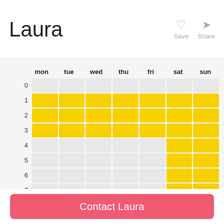Laura
Save
Share
[Figure (table-as-image): Weekly availability schedule grid for Laura. Rows are hours 0-15, columns are days mon, tue, wed, thu, fri, sat, sun. Yellow cells indicate availability. Hours 1-3 are yellow for mon, tue, wed, thu, fri, sat, sun. Hours 4-12 are yellow only for sat and sun. Hour 13-15 are yellow for mon, tue, wed, thu, fri, sat, sun.]
Contact Laura